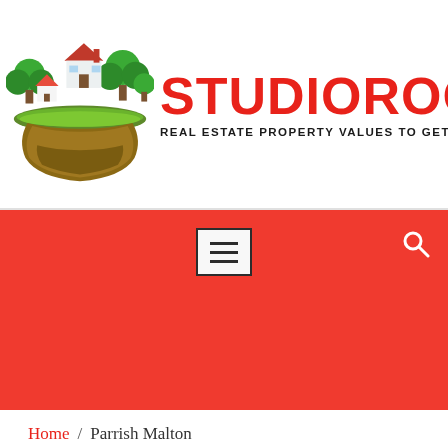[Figure (logo): StudioRoom906 logo with floating island illustration showing houses and trees, with brand name in red and tagline 'REAL ESTATE PROPERTY VALUES TO GET DREAMLAND']
[Figure (screenshot): Red navigation bar with hamburger menu button (three horizontal lines in a box) on center-left and search icon on far right]
Home / Parrish Malton